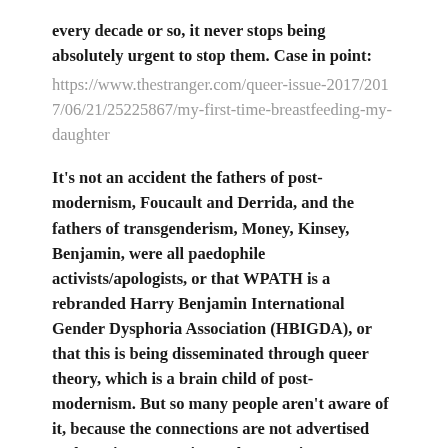every decade or so, it never stops being absolutely urgent to stop them. Case in point:
https://www.thestranger.com/queer-issue-2017/2017/06/21/25225867/my-first-time-breastfeeding-my-daughter
It's not an accident the fathers of post-modernism, Foucault and Derrida, and the fathers of transgenderism, Money, Kinsey, Benjamin, were all paedophile activists/apologists, or that WPATH is a rebranded Harry Benjamin International Gender Dysphoria Association (HBIGDA), or that this is being disseminated through queer theory, which is a brain child of post-modernism. But so many people aren't aware of it, because the connections are not advertised and passive-aggressive male narratives are